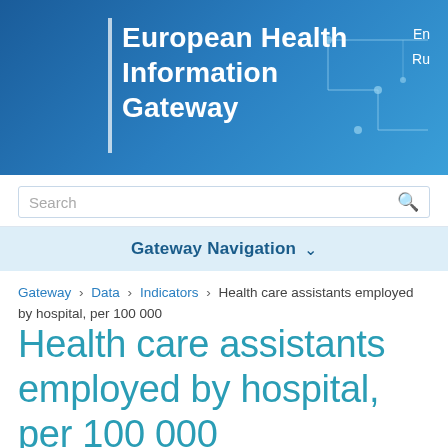European Health Information Gateway
Search
Gateway Navigation
Gateway › Data › Indicators › Health care assistants employed by hospital, per 100 000
Health care assistants employed by hospital, per 100 000